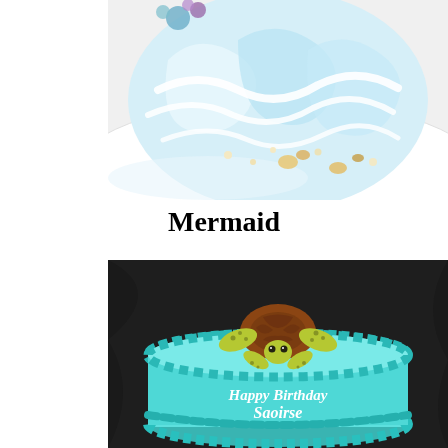[Figure (photo): Top-down view of a mermaid-themed cake with light blue and white swirled frosting, decorated with small seashells and pearl-like beads on a white round board]
Mermaid
[Figure (photo): A round birthday cake with light blue frosting and dotted border, topped with a fondant sea turtle figurine and reading 'Happy Birthday Saoirse' in white lettering, on a dark background]